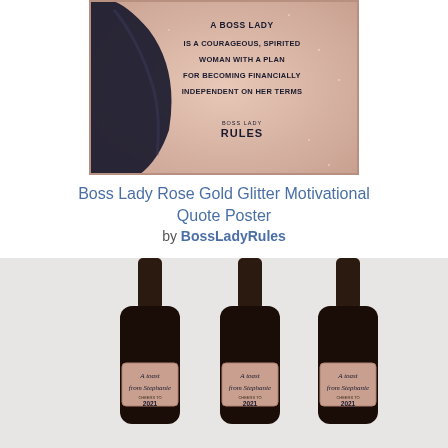[Figure (illustration): Boss Lady Rose Gold Glitter Motivational Quote Poster showing a woman silhouette with text: A BOSS LADY IS A COURAGEOUS, SPIRITED WOMAN WITH A PLAN FOR BECOMING FINANCIALLY INDEPENDENT ON HER TERMS. Boss Lady RULES branding at bottom.]
Boss Lady Rose Gold Glitter Motivational Quote Poster by BossLadyRules
[Figure (photo): Three dark wine bottles with rose gold glitter labels reading 'A toast from Stephanie' and '2021' personalised wine bottle labels, shown on a light grey background.]